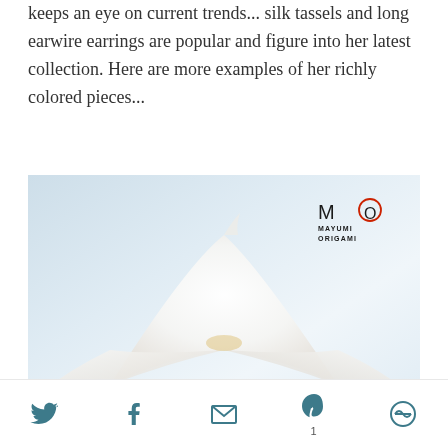keeps an eye on current trends... silk tassels and long earwire earrings are popular and figure into her latest collection. Here are more examples of her richly colored pieces...
[Figure (photo): Close-up photograph of a white origami crane with a Mayumi Origami logo in the top right corner. The crane appears finely folded against a pale blue-white background, with subtle warm-toned details.]
[Figure (logo): Mayumi Origami logo: letters MO where O is in red circle, below which reads MAYUMI ORIGAMI in small caps]